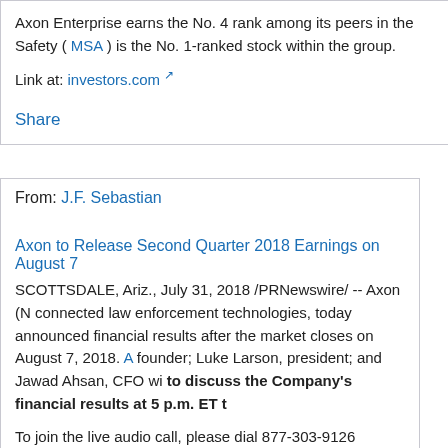Axon Enterprise earns the No. 4 rank among its peers in the Safety ( MSA ) is the No. 1-ranked stock within the group.
Link at: investors.com
Share
From: J.F. Sebastian
Axon to Release Second Quarter 2018 Earnings on August 7
SCOTTSDALE, Ariz., July 31, 2018 /PRNewswire/ -- Axon (N connected law enforcement technologies, today announced financial results after the market closes on August 7, 2018. A founder; Luke Larson, president; and Jawad Ahsan, CFO wi to discuss the Company's financial results at 5 p.m. ET t
To join the live audio call, please dial 877-303-9126 (domest and use conference ID number 9995809.